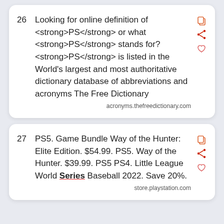26  Looking for online definition of <strong>PS</strong> or what <strong>PS</strong> stands for? <strong>PS</strong> is listed in the World's largest and most authoritative dictionary database of abbreviations and acronyms The Free Dictionary
acronyms.thefreedictionary.com
27  PS5. Game Bundle Way of the Hunter: Elite Edition. $54.99. PS5. Way of the Hunter. $39.99. PS5 PS4. Little League World Series Baseball 2022. Save 20%.
store.playstation.com